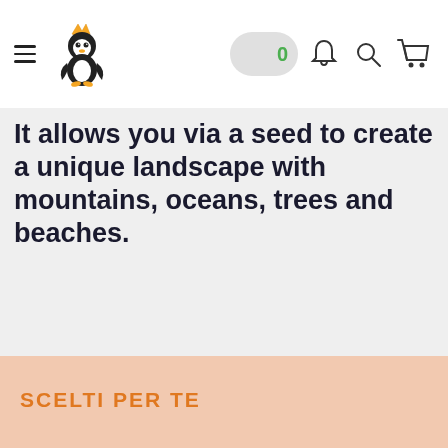Navigation bar with hamburger menu, penguin with crown logo, search pill with 0 badge, bell icon, search icon, cart icon
It allows you via a seed to create a unique landscape with mountains, oceans, trees and beaches.
SCELTI PER TE